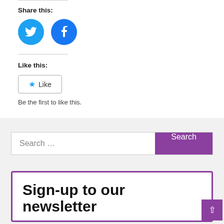Share this:
[Figure (illustration): Twitter and Facebook circular social media share buttons]
Like this:
[Figure (illustration): Like button with star icon]
Be the first to like this.
[Figure (screenshot): Search bar with purple Search button]
Sign-up to our newsletter